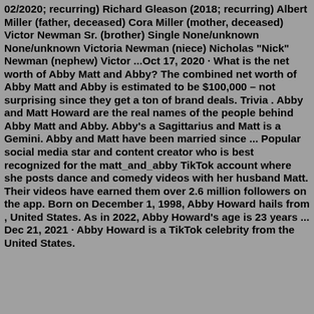02/2020; recurring) Richard Gleason (2018; recurring) Albert Miller (father, deceased) Cora Miller (mother, deceased) Victor Newman Sr. (brother) Single None/unknown None/unknown Victoria Newman (niece) Nicholas "Nick" Newman (nephew) Victor ...Oct 17, 2020 · What is the net worth of Abby Matt and Abby? The combined net worth of Abby Matt and Abby is estimated to be $100,000 – not surprising since they get a ton of brand deals. Trivia . Abby and Matt Howard are the real names of the people behind Abby Matt and Abby. Abby's a Sagittarius and Matt is a Gemini. Abby and Matt have been married since ... Popular social media star and content creator who is best recognized for the matt_and_abby TikTok account where she posts dance and comedy videos with her husband Matt. Their videos have earned them over 2.6 million followers on the app. Born on December 1, 1998, Abby Howard hails from , United States. As in 2022, Abby Howard's age is 23 years ... Dec 21, 2021 · Abby Howard is a TikTok celebrity from the United States.